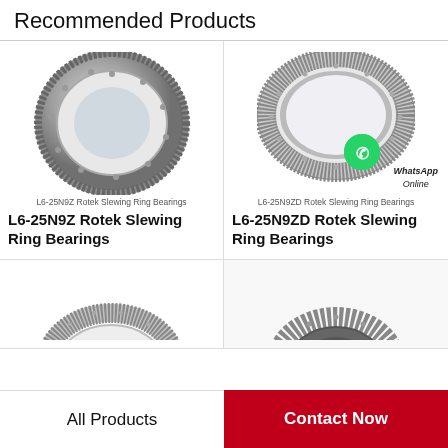Recommended Products
[Figure (photo): L6-25N9Z Rotek Slewing Ring Bearing - large circular ring bearing with gear teeth on outer edge and bolt holes, metallic finish]
L6-25N9Z Rotek Slewing Ring Bearings
L6-25N9Z Rotek Slewing Ring Bearings
[Figure (photo): L6-25N9ZD Rotek Slewing Ring Bearing - thinner circular ring bearing in gray finish with gear teeth, with WhatsApp Online overlay]
L6-25N9ZD Rotek Slewing Ring Bearings
L6-25N9ZD Rotek Slewing Ring Bearings
[Figure (photo): Partial view of a slewing ring bearing from above]
[Figure (photo): Partial view of a cylindrical roller bearing]
All Products
Contact Now